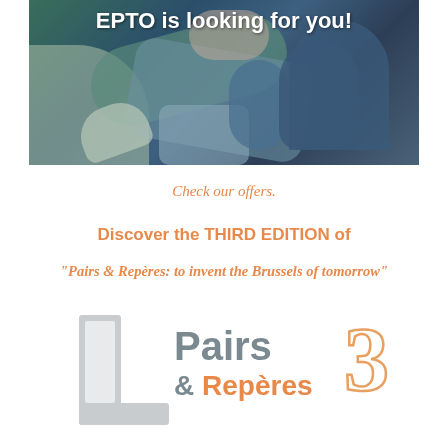[Figure (photo): Group of people hugging/embracing, wearing dark blue and teal clothing, with text overlay 'EPTO is looking for you!']
Check our offers.
Discover the THIRD EDITION of
"Pairs & Repères: to invent the Brussels of tomorrow"
[Figure (logo): Pairs & Repères 3 logo with grey building/letter L shape on the left and stylized text with large outlined number 3]